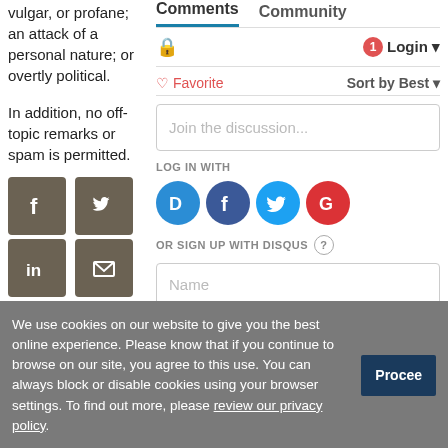vulgar, or profane; an attack of a personal nature; or overtly political.
In addition, no off-topic remarks or spam is permitted.
[Figure (screenshot): Social share icons: Facebook, Twitter, LinkedIn, Email in dark brown/gray squares]
Comments  Community
[Figure (screenshot): Comments tab bar with lock icon, notification badge (1), Login button]
[Figure (screenshot): Favorite heart icon and Sort by Best dropdown]
Join the discussion...
LOG IN WITH
[Figure (screenshot): OAuth login icons: Disqus (blue), Facebook (dark blue), Twitter (light blue), Google (red)]
OR SIGN UP WITH DISQUS
Name
We use cookies on our website to give you the best online experience. Please know that if you continue to browse on our site, you agree to this use. You can always block or disable cookies using your browser settings. To find out more, please review our privacy policy.